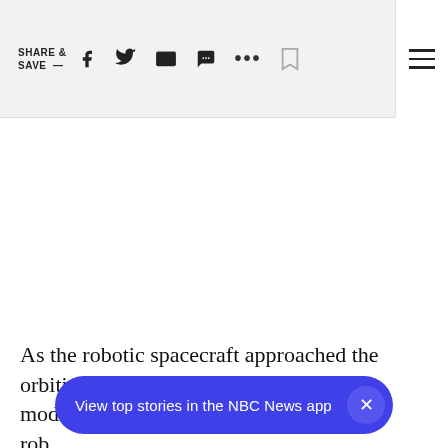SHARE & SAVE —
[Figure (screenshot): Large white/blank content area representing an embedded video or image placeholder]
As the robotic spacecraft approached the orbiting complex, Russian and Ukrainian modules were about to rob
View top stories in the NBC News app